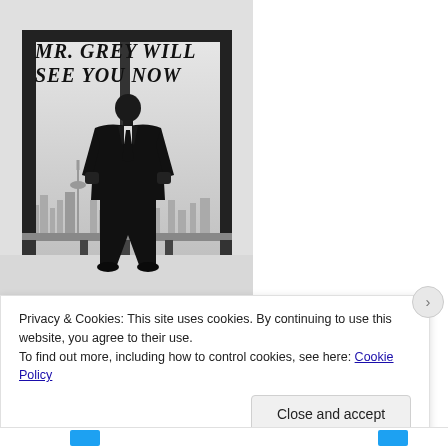[Figure (illustration): Movie poster for 'Fifty Shades of Grey' showing a man in a dark suit standing with his back to the viewer, looking out of floor-to-ceiling windows at a city skyline. Text at top reads 'MR. GREY WILL SEE YOU NOW' in italic serif font. Black and white / grayscale color scheme.]
Privacy & Cookies: This site uses cookies. By continuing to use this website, you agree to their use.
To find out more, including how to control cookies, see here: Cookie Policy
Close and accept